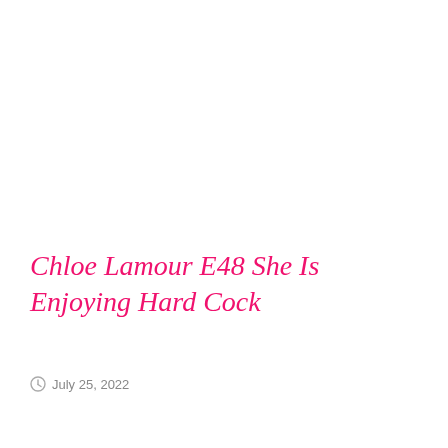Chloe Lamour E48 She Is Enjoying Hard Cock
July 25, 2022